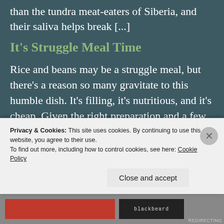than the tundra meat-eaters of Siberia, and their saliva helps break [...]
It's Struggle Meal Time
Rice and beans may be a struggle meal, but there's a reason so many gravitate to this humble dish. It's filling, it's nutritious, and it's cheap. Given the right preparation and a few seasonings, rice and beans can also be delicious and satisfying. Beans are basic,
Privacy & Cookies: This site uses cookies. By continuing to use this website, you agree to their use. To find out more, including how to control cookies, see here: Cookie Policy
Close and accept